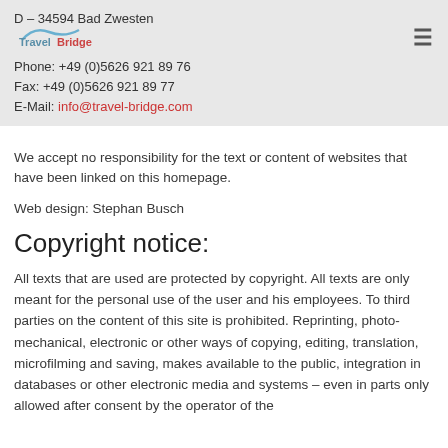D – 34594 Bad Zwesten
Phone: +49 (0)5626 921 89 76
Fax: +49 (0)5626 921 89 77
E-Mail: info@travel-bridge.com
[Figure (logo): TravelBridge logo in the header navigation bar]
We accept no responsibility for the text or content of websites that have been linked on this homepage.
Web design: Stephan Busch
Copyright notice:
All texts that are used are protected by copyright. All texts are only meant for the personal use of the user and his employees. To third parties on the content of this site is prohibited. Reprinting, photo-mechanical, electronic or other ways of copying, editing, translation, microfilming and saving, makes available to the public, integration in databases or other electronic media and systems – even in parts only allowed after consent by the operator of the